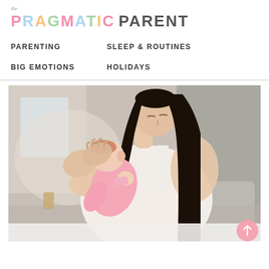the Pragmatic Parent
PRAGMATIC PARENT
PARENTING
SLEEP & ROUTINES
BIG EMOTIONS
HOLIDAYS
[Figure (photo): A mother with long dark hair holding and embracing a baby dressed in pink, the baby appears to be nursing or being cuddled closely. Soft indoor background with blurred furniture.]